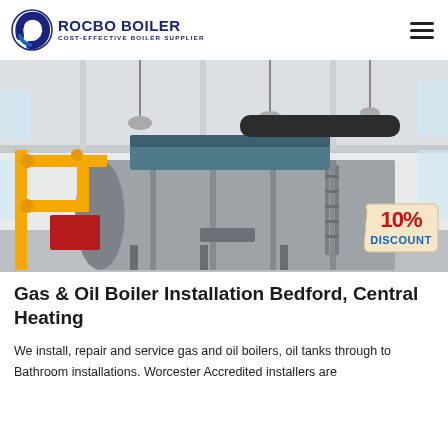[Figure (logo): Rocbo Boiler logo with circular icon and text 'ROCBO BOILER / COST-EFFECTIVE BOILER SUPPLIER' in dark blue]
[Figure (photo): Industrial boiler installation inside a large white factory building. Large cylindrical grey boiler with yellow gas pipes, blue equipment on top, and a 10% DISCOUNT badge overlay in the lower right corner.]
Gas & Oil Boiler Installation Bedford, Central Heating
We install, repair and service gas and oil boilers, oil tanks through to Bathroom installations. Worcester Accredited installers are